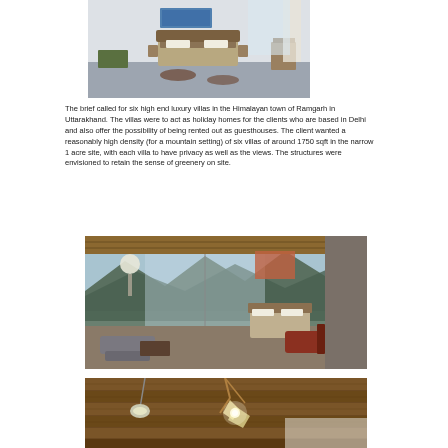[Figure (photo): Interior of a luxury villa bedroom with a bed, wooden headboard, patterned floor, artwork on wall, and sparse modern furniture]
The brief called for six high end luxury villas in the Himalayan town of Ramgarh in Uttarakhand. The villas were to act as holiday homes for the clients who are based in Delhi and also offer the possibility of being rented out as guesthouses. The client wanted a reasonably high density (for a mountain setting) of six villas of around 1750 sqft in the narrow 1 acre site, with each villa to have privacy as well as the views. The structures were envisioned to retain the sense of greenery on site.
[Figure (photo): Interior of a luxury villa with panoramic mountain views through large glass doors, open-plan living and bedroom area with wooden ceiling, lounge chairs and floor cushions]
[Figure (photo): Close-up of wooden ceiling and a decorative light fixture/installation with rope and glowing elements, warm wooden tones]